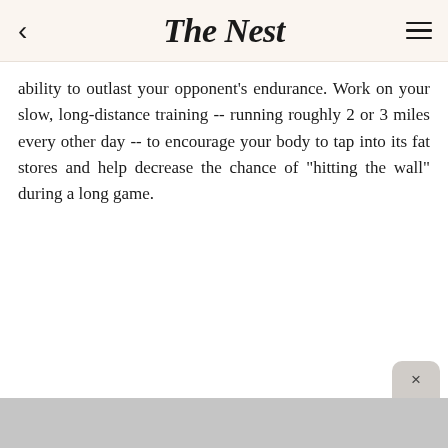The Nest
ability to outlast your opponent's endurance. Work on your slow, long-distance training -- running roughly 2 or 3 miles every other day -- to encourage your body to tap into its fat stores and help decrease the chance of "hitting the wall" during a long game.